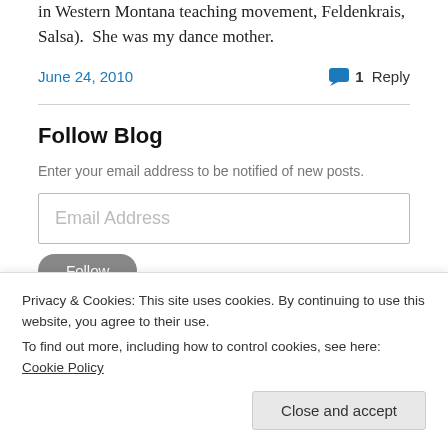in Western Montana teaching movement, Feldenkrais, Salsa).  She was my dance mother.
June 24, 2010    1 Reply
Follow Blog
Enter your email address to be notified of new posts.
Email Address
Privacy & Cookies: This site uses cookies. By continuing to use this website, you agree to their use.
To find out more, including how to control cookies, see here: Cookie Policy
Close and accept